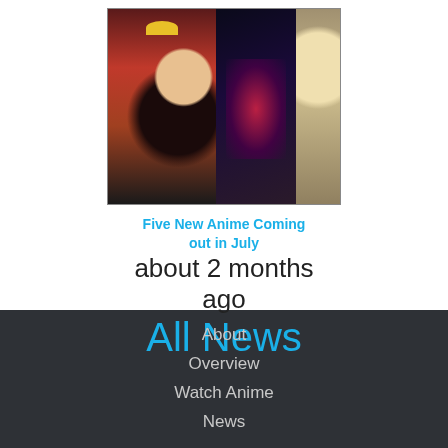[Figure (photo): Three-panel anime image collage: left panel shows anime character with red hat, middle panel shows dark mecha/monster with red glow, right panel shows blonde anime character with green eyes and glasses]
Five New Anime Coming out in July
about 2 months ago
All News
About
Overview
Watch Anime
News